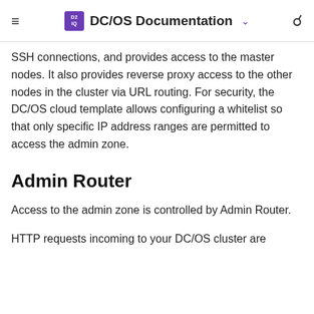DC/OS Documentation
SSH connections, and provides access to the master nodes. It also provides reverse proxy access to the other nodes in the cluster via URL routing. For security, the DC/OS cloud template allows configuring a whitelist so that only specific IP address ranges are permitted to access the admin zone.
Admin Router
Access to the admin zone is controlled by Admin Router.
HTTP requests incoming to your DC/OS cluster are